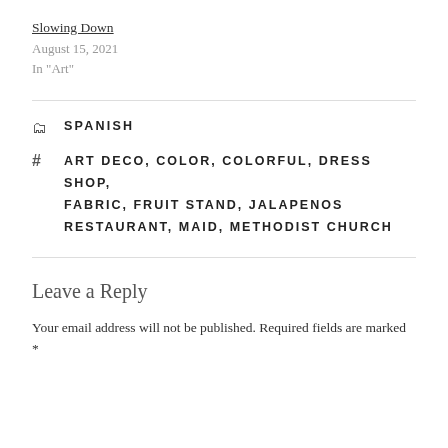Slowing Down
August 15, 2021
In "Art"
SPANISH
ART DECO, COLOR, COLORFUL, DRESS SHOP, FABRIC, FRUIT STAND, JALAPENOS RESTAURANT, MAID, METHODIST CHURCH
Leave a Reply
Your email address will not be published. Required fields are marked *